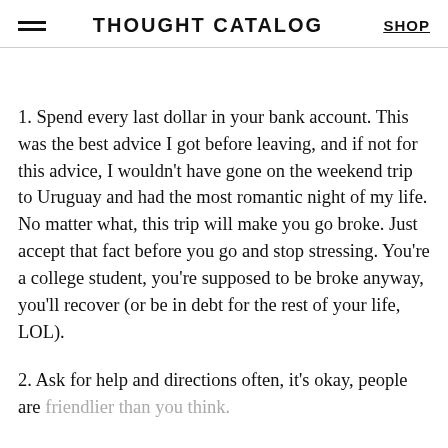THOUGHT CATALOG | SHOP
1. Spend every last dollar in your bank account. This was the best advice I got before leaving, and if not for this advice, I wouldn't have gone on the weekend trip to Uruguay and had the most romantic night of my life. No matter what, this trip will make you go broke. Just accept that fact before you go and stop stressing. You're a college student, you're supposed to be broke anyway, you'll recover (or be in debt for the rest of your life, LOL).
2. Ask for help and directions often, it's okay, people are friendlier than you think.